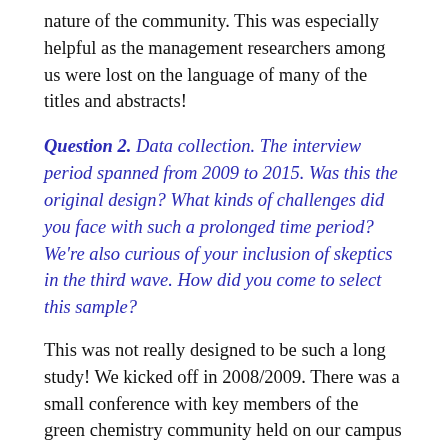nature of the community. This was especially helpful as the management researchers among us were lost on the language of many of the titles and abstracts!
Question 2. Data collection. The interview period spanned from 2009 to 2015. Was this the original design? What kinds of challenges did you face with such a prolonged time period? We're also curious of your inclusion of skeptics in the third wave. How did you come to select this sample?
This was not really designed to be such a long study! We kicked off in 2008/2009. There was a small conference with key members of the green chemistry community held on our campus and we began interviewing at that stage. As you might surmise, the later rounds of interviews came about as we took this paper through the review process. Reviewers asked important questions and we found that returning to our original interviewees over time was important, as was broadening our sample and involving new voices.
The early years of analysis took a long time in part because we had assembled a very comprehensive database of published articles on green chemistry, largely from chemistry journals. We spent